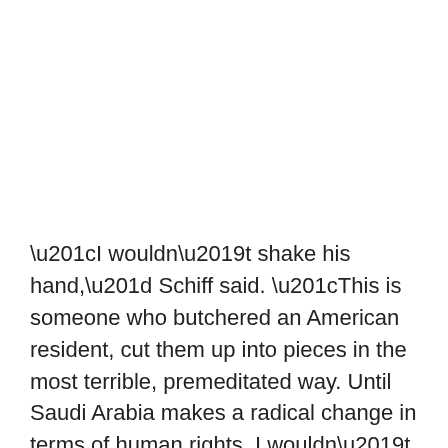“I wouldn’t shake his hand,” Schiff said. “This is someone who butchered an American resident, cut them up into pieces in the most terrible, premeditated way. Until Saudi Arabia makes a radical change in terms of human rights, I wouldn’t want anything to do with them.”
Gas prices have skyrocketed this year and continue to climb, reaching a record high national average of